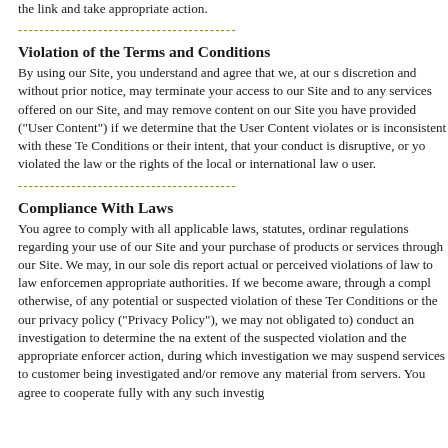the link and take appropriate action.
----------------------------------------
Violation of the Terms and Conditions
By using our Site, you understand and agree that we, at our sole discretion and without prior notice, may terminate your access to our Site and to any services offered on our Site, and may remove any content on our Site you have provided ("User Content") if we determine that the User Content violates or is inconsistent with these Terms and Conditions or their intent, that your conduct is disruptive, or you have violated the law or the rights of the local or international law of the user.
----------------------------------------
Compliance With Laws
You agree to comply with all applicable laws, statutes, ordinances, regulations regarding your use of our Site and your purchase of products or services through our Site. We may, in our sole discretion, report actual or perceived violations of law to law enforcement or appropriate authorities. If we become aware, through a complaint or otherwise, of any potential or suspected violation of these Terms and Conditions or the our privacy policy ("Privacy Policy"), we may (but are not obligated to) conduct an investigation to determine the nature and extent of the suspected violation and the appropriate enforcement action, during which investigation we may suspend services to the customer being investigated and/or remove any material from our servers. You agree to cooperate fully with any such investigation.